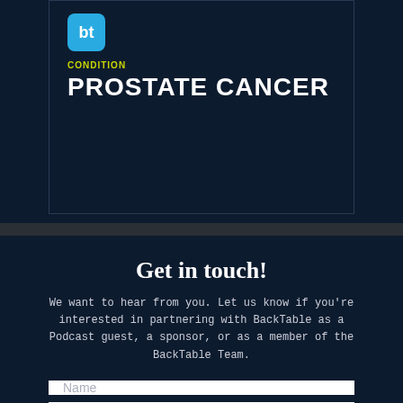[Figure (logo): BackTable logo — teal square with 'bt' letters in white]
CONDITION
PROSTATE CANCER
Get in touch!
We want to hear from you. Let us know if you're interested in partnering with BackTable as a Podcast guest, a sponsor, or as a member of the BackTable Team.
Name
Email
Message